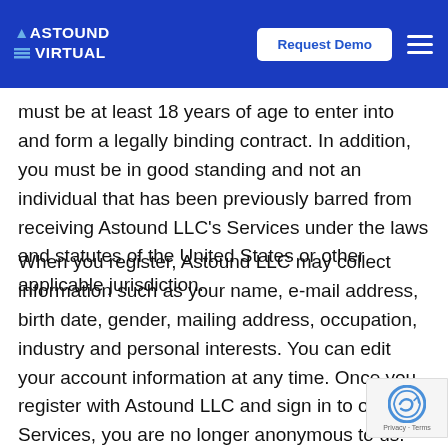Astound Virtual | Request Demo
must be at least 18 years of age to enter into and form a legally binding contract. In addition, you must be in good standing and not an individual that has been previously barred from receiving Astound LLC's Services under the laws and statutes of the United States or other applicable jurisdiction.
When you register, Astound LLC may collect information such as your name, e-mail address, birth date, gender, mailing address, occupation, industry and personal interests. You can edit your account information at any time. Once you register with Astound LLC and sign in to our Services, you are no longer anonymous to us.